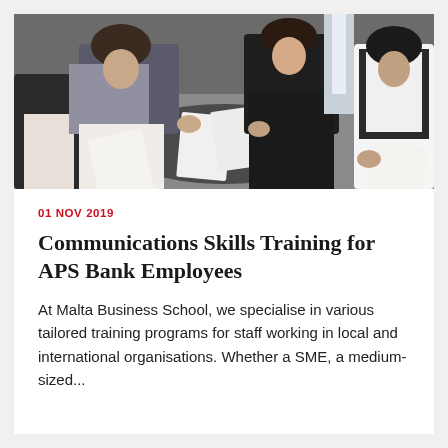[Figure (photo): Group of people sitting in a circle, reviewing documents on paper during a meeting or training session]
01 NOV 2019
Communications Skills Training for APS Bank Employees
At Malta Business School, we specialise in various tailored training programs for staff working in local and international organisations. Whether a SME, a medium-sized...